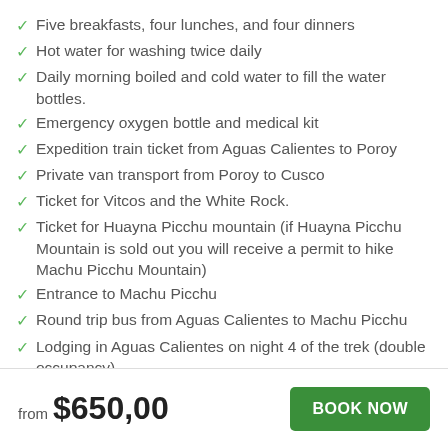Five breakfasts, four lunches, and four dinners
Hot water for washing twice daily
Daily morning boiled and cold water to fill the water bottles.
Emergency oxygen bottle and medical kit
Expedition train ticket from Aguas Calientes to Poroy
Private van transport from Poroy to Cusco
Ticket for Vitcos and the White Rock.
Ticket for Huayna Picchu mountain (if Huayna Picchu Mountain is sold out you will receive a permit to hike Machu Picchu Mountain)
Entrance to Machu Picchu
Round trip bus from Aguas Calientes to Machu Picchu
Lodging in Aguas Calientes on night 4 of the trek (double occupancy)
Dinner in Aguas Calientes on night 4
from $650,00
BOOK NOW